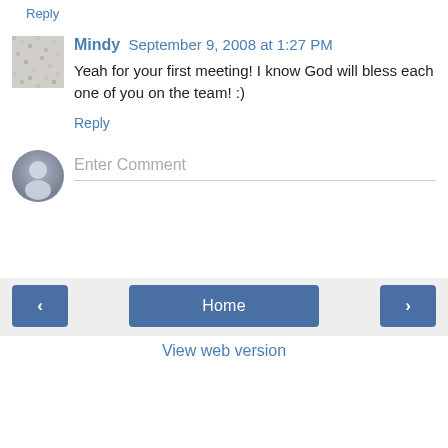Reply
Mindy  September 9, 2008 at 1:27 PM
Yeah for your first meeting! I know God will bless each one of you on the team! :)
Reply
Enter Comment
Home
View web version